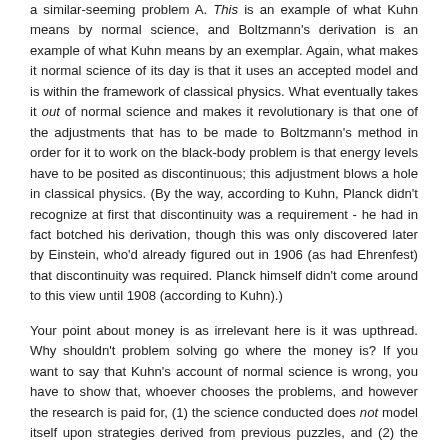a similar-seeming problem A. This is an example of what Kuhn means by normal science, and Boltzmann's derivation is an example of what Kuhn means by an exemplar. Again, what makes it normal science of its day is that it uses an accepted model and is within the framework of classical physics. What eventually takes it out of normal science and makes it revolutionary is that one of the adjustments that has to be made to Boltzmann's method in order for it to work on the black-body problem is that energy levels have to be posited as discontinuous; this adjustment blows a hole in classical physics. (By the way, according to Kuhn, Planck didn't recognize at first that discontinuity was a requirement - he had in fact botched his derivation, though this was only discovered later by Einstein, who'd already figured out in 1906 (as had Ehrenfest) that discontinuity was required. Planck himself didn't come around to this view until 1908 (according to Kuhn).)
Your point about money is as irrelevant here is it was upthread. Why shouldn't problem solving go where the money is? If you want to say that Kuhn's account of normal science is wrong, you have to show that, whoever chooses the problems, and however the research is paid for, (1) the science conducted does not model itself upon strategies derived from previous puzzles, and (2) the science is not conducted within the framework of accepted paradigms.
"Pure science" versus some other sort of science (that